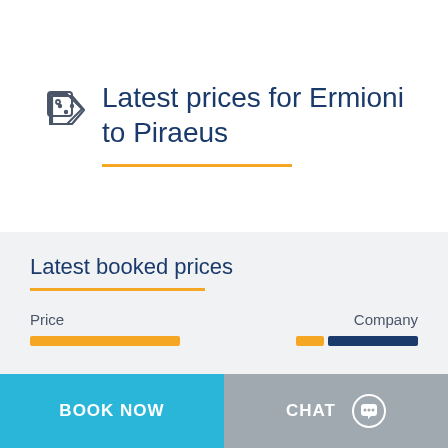Latest prices for Ermioni to Piraeus
Latest booked prices
Price
Company